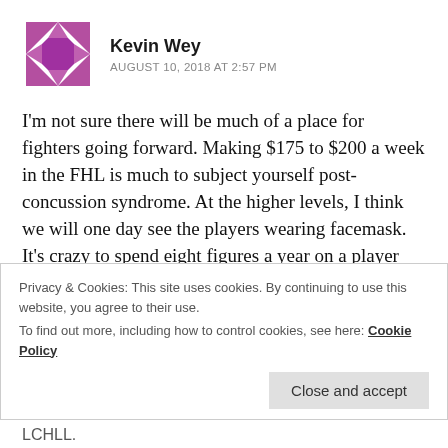[Figure (logo): Purple geometric diamond/pinwheel avatar icon for user Kevin Wey]
Kevin Wey
AUGUST 10, 2018 AT 2:57 PM
I'm not sure there will be much of a place for fighters going forward. Making $175 to $200 a week in the FHL is much to subject yourself post-concussion syndrome. At the higher levels, I think we will one day see the players wearing facemask. It's crazy to spend eight figures a year on a player and a puck or stick could kill your investment. At the lower levels, how is it worth it to subject yourself to such dangers? All minor leaguers
Privacy & Cookies: This site uses cookies. By continuing to use this website, you agree to their use.
To find out more, including how to control cookies, see here: Cookie Policy
[Close and accept]